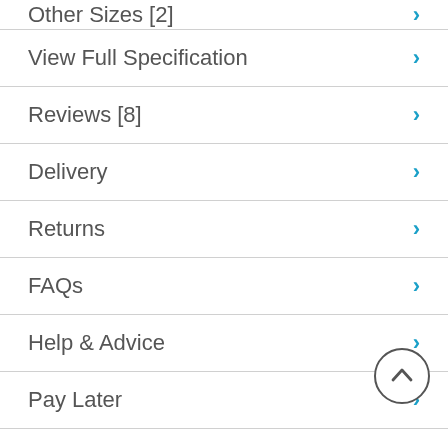Other Sizes [2]
View Full Specification
Reviews [8]
Delivery
Returns
FAQs
Help & Advice
Pay Later
Installation